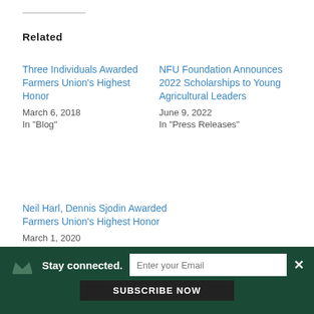Related
Three Individuals Awarded Farmers Union’s Highest Honor
March 6, 2018
In "Blog"
NFU Foundation Announces 2022 Scholarships to Young Agricultural Leaders
June 9, 2022
In "Press Releases"
Neil Harl, Dennis Sjodin Awarded Farmers Union’s Highest Honor
March 1, 2020
In "Press Releases"
Stay connected. Enter your Email SUBSCRIBE NOW